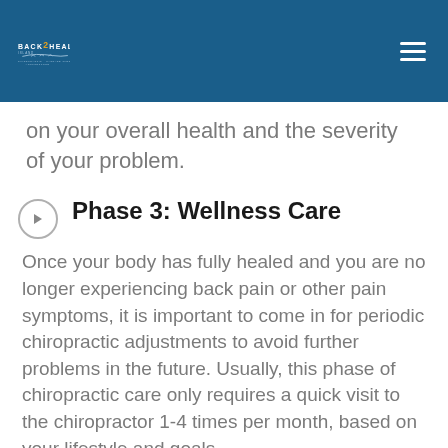Back 2 Health Island — Chiropractic · Massage Therapy · Acupuncture
on your overall health and the severity of your problem.
Phase 3: Wellness Care
Once your body has fully healed and you are no longer experiencing back pain or other pain symptoms, it is important to come in for periodic chiropractic adjustments to avoid further problems in the future. Usually, this phase of chiropractic care only requires a quick visit to the chiropractor 1-4 times per month, based on your lifestyle and goals.